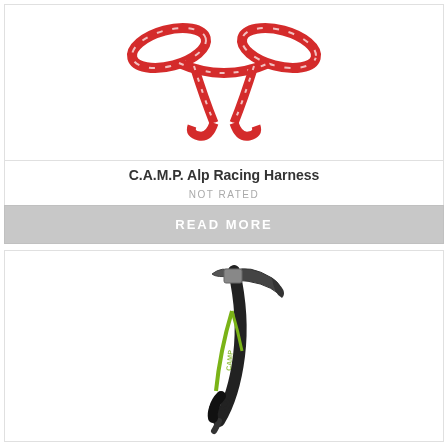[Figure (photo): C.A.M.P. Alp Racing Harness - red and white striped webbing harness shown from above on white background]
C.A.M.P. Alp Racing Harness
NOT RATED
READ MORE
[Figure (photo): Ice axe with black curved shaft, green accent cord/leash, black handle grip at bottom, and curved pick at top - shown on white background]